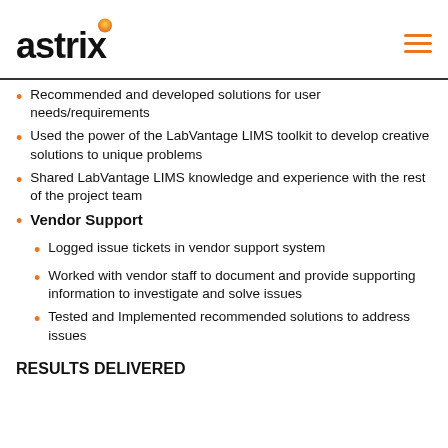astrix
Recommended and developed solutions for user needs/requirements
Used the power of the LabVantage LIMS toolkit to develop creative solutions to unique problems
Shared LabVantage LIMS knowledge and experience with the rest of the project team
Vendor Support
Logged issue tickets in vendor support system
Worked with vendor staff to document and provide supporting information to investigate and solve issues
Tested and Implemented recommended solutions to address issues
RESULTS DELIVERED